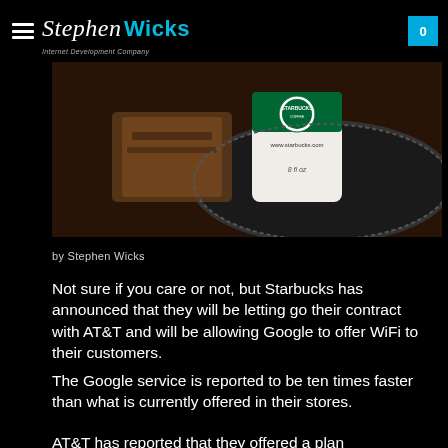StephenWicks Internet Development Company
[Figure (photo): Close-up photo of a Starbucks coffee cup on a dark plate/tray with food items, showing Starbucks logo and www.starbucks.com 8 fl oz text]
by Stephen Wicks
Not sure if you care or not, but Starbucks has announced that they will be letting go their contract with AT&T and will be allowing Google to offer WiFi to their customers.
The Google service is reported to be ten times faster than what is currently offered in their stores.
AT&T has reported that they offered a plan